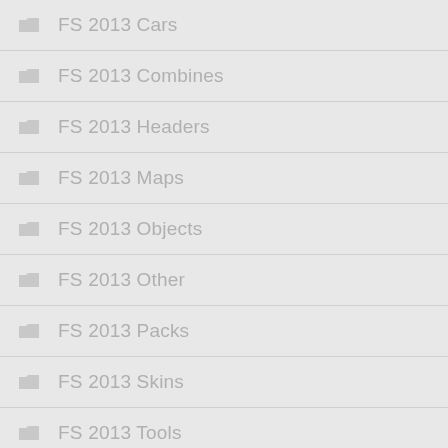FS 2013 Cars
FS 2013 Combines
FS 2013 Headers
FS 2013 Maps
FS 2013 Objects
FS 2013 Other
FS 2013 Packs
FS 2013 Skins
FS 2013 Tools
FS 2013 Tractors